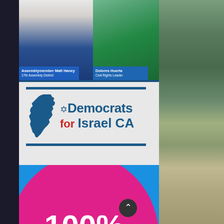[Figure (photo): Assemblymember Matt Haney, 17th Assembly District - headshot photo]
Assemblymember Matt Haney
17th Assembly District
[Figure (photo): Dolores Huerta, Civil Rights Leader - headshot photo]
Dolores Huerta
Civil Rights Leader
[Figure (logo): Democrats for Israel CA logo with California state shape and Star of David]
100%
Pro-Choice rating from Planned Parenthood Advocates of Mar Monte.